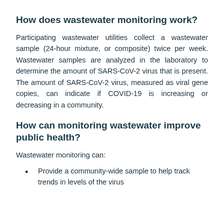How does wastewater monitoring work?
Participating wastewater utilities collect a wastewater sample (24-hour mixture, or composite) twice per week. Wastewater samples are analyzed in the laboratory to determine the amount of SARS-CoV-2 virus that is present. The amount of SARS-CoV-2 virus, measured as viral gene copies, can indicate if COVID-19 is increasing or decreasing in a community.
How can monitoring wastewater improve public health?
Wastewater monitoring can:
Provide a community-wide sample to help track trends in levels of the virus